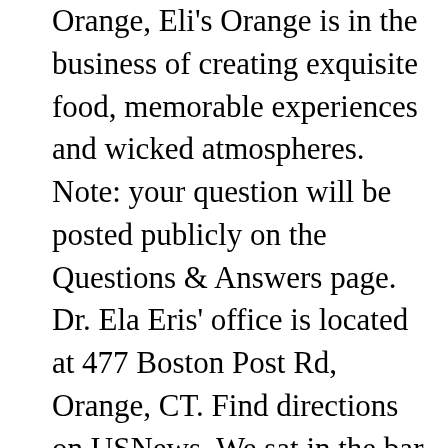Orange, Eli's Orange is in the business of creating exquisite food, memorable experiences and wicked atmospheres. Note: your question will be posted publicly on the Questions & Answers page. Dr. Ela Eris' office is located at 477 Boston Post Rd, Orange, CT. Find directions on USNews. We sat in the bar area at a booth and the bartender (female) provided great service. What are Dr. Ela Eris' areas of care? The menu: American with an Italian twist. No complaints from anyone, every order made correctly to order. I have visited multiple occasions and really wanted to like it, but It just fails on multiple levels.The food is just plain bad. Eli's Tavern is a New York City style gastropub serving